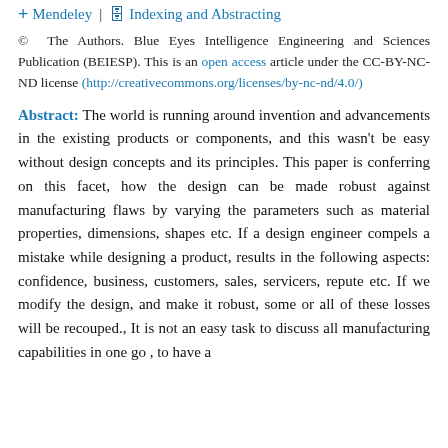+ Mendeley | Indexing and Abstracting
© The Authors. Blue Eyes Intelligence Engineering and Sciences Publication (BEIESP). This is an open access article under the CC-BY-NC-ND license (http://creativecommons.org/licenses/by-nc-nd/4.0/)
Abstract: The world is running around invention and advancements in the existing products or components, and this wasn't be easy without design concepts and its principles. This paper is conferring on this facet, how the design can be made robust against manufacturing flaws by varying the parameters such as material properties, dimensions, shapes etc. If a design engineer compels a mistake while designing a product, results in the following aspects: confidence, business, customers, sales, servicers, repute etc. If we modify the design, and make it robust, some or all of these losses will be recouped., It is not an easy task to discuss all manufacturing capabilities in one go , to have a